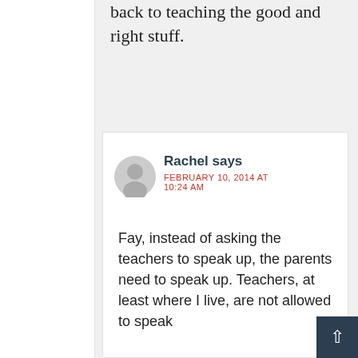back to teaching the good and right stuff.
Reply
Rachel says
FEBRUARY 10, 2014 AT 10:24 AM
Fay, instead of asking the teachers to speak up, the parents need to speak up. Teachers, at least where I live, are not allowed to speak